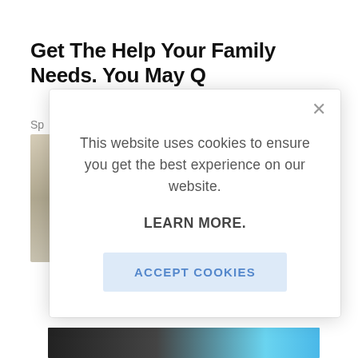Get The Help Your Family Needs. You May Qualify For Compensation
Sp
[Figure (screenshot): Cookie consent modal dialog overlaid on a webpage. The modal contains text 'This website uses cookies to ensure you get the best experience on our website.' followed by 'LEARN MORE.' in bold, and a blue 'ACCEPT COOKIES' button. A close (X) button is in the top-right corner of the modal.]